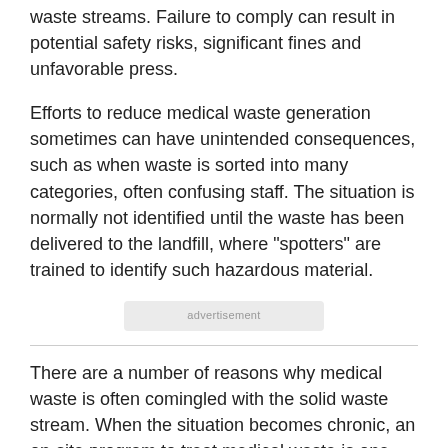waste streams. Failure to comply can result in potential safety risks, significant fines and unfavorable press.
Efforts to reduce medical waste generation sometimes can have unintended consequences, such as when waste is sorted into many categories, often confusing staff. The situation is normally not identified until the waste has been delivered to the landfill, where "spotters" are trained to identify such hazardous material.
advertisement
There are a number of reasons why medical waste is often comingled with the solid waste stream. When the situation becomes chronic, an on-site program to treat medical waste is one option to remedy the problem as well as bring additional economic and operational benefits to the hospital. Another option is to contract